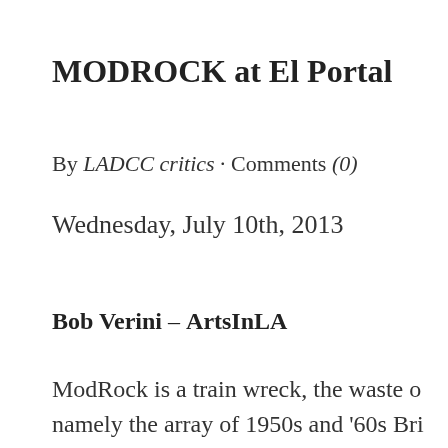MODROCK at El Portal
By LADCC critics · Comments (0)
Wednesday, July 10th, 2013
Bob Verini – ArtsInLA
ModRock is a train wreck, the waste o namely the array of 1950s and '60s Br